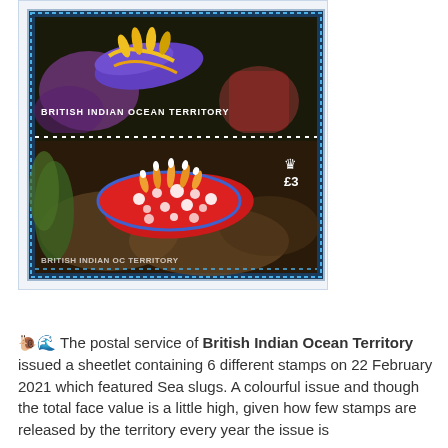[Figure (photo): British Indian Ocean Territory postage stamp featuring sea slugs (nudibranchs). The stamp shows two sections separated by a dotted perforation line. The upper section shows a purple and yellow sea slug on a dark underwater background with the text 'BRITISH INDIAN OCEAN TERRITORY'. The lower section shows a red and white spotted nudibranch on a rocky underwater surface with '£3' denomination and a crown symbol. The stamp has a blue dotted perforated border.]
🐌🌊 The postal service of British Indian Ocean Territory issued a sheetlet containing 6 different stamps on 22 February 2021 which featured Sea slugs. A colourful issue and though the total face value is a little high, given how few stamps are released by the territory every year the issue is